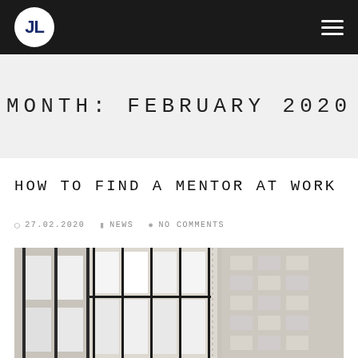JL (logo) | hamburger menu
MONTH: FEBRUARY 2020
HOW TO FIND A MENTOR AT WORK
27.02.2020   NEWS   NO COMMENTS
[Figure (photo): Photo of modern office building interior/exterior with large windows showing building facade]